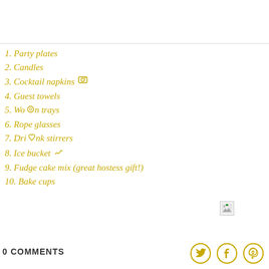1. Party plates
2. Candles
3. Cocktail napkins
4. Guest towels
5. Wooden trays
6. Rope glasses
7. Drink stirrers
8. Ice bucket
9. Fudge cake mix (great hostess gift!)
10. Bake cups
0 COMMENTS